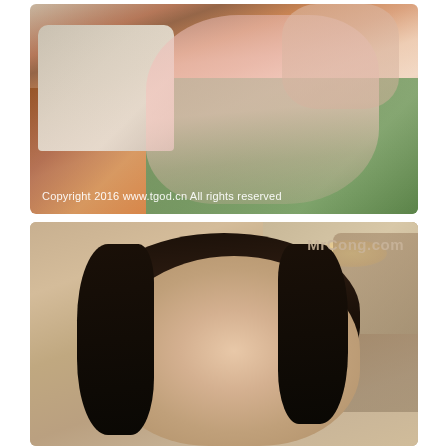[Figure (photo): Young Asian woman in a pink sheer nightgown/dress kneeling on a green carpet with a wooden floor and ornate chair visible. Photo watermarked with 'Copyright 2016 www.tgod.cn All rights reserved'.]
[Figure (photo): Portrait of a young Asian woman with long straight black hair looking at the camera. Indoor setting with warm lighting, mirror and chandelier visible in background. Watermarked with 'MrCong.com'.]